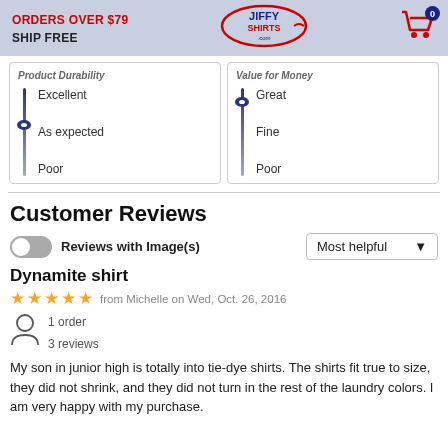ORDERS OVER $79 SHIP FREE | JiffyShirts.com | Cart: 0
Product Durability
[Figure (infographic): Vertical slider for Product Durability showing marker at 'As expected' between Excellent (top) and Poor (bottom)]
Value for Money
[Figure (infographic): Vertical slider for Value for Money showing marker near 'Great' between Great (top) and Poor (bottom)]
Customer Reviews
Reviews with Image(s)
Most helpful
Dynamite shirt
from Michelle on Wed, Oct. 26, 2016
1 order
3 reviews
My son in junior high is totally into tie-dye shirts. The shirts fit true to size, they did not shrink, and they did not turn in the rest of the laundry colors. I am very happy with my purchase.